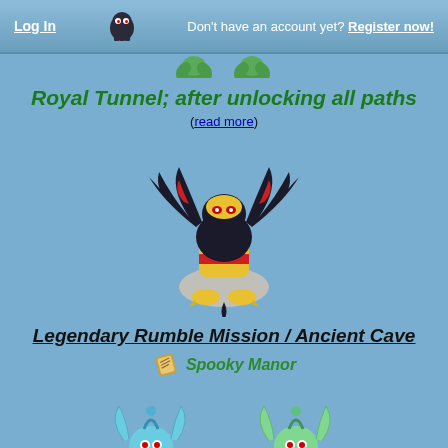Log In  Don't have an account yet? Register now!
[Figure (illustration): Small green Pokemon sprites partially visible at top of content area]
Royal Tunnel; after unlocking all paths
(read more)
[Figure (illustration): Pixel art sprite of Giratina (Origin Forme) - a large dragon Pokemon with black and gold coloring, red accents, appearing menacing]
Legendary Rumble Mission / Ancient Cave
[Figure (illustration): Small scroll/map icon next to Spooky Manor text]
Spooky Manor
[Figure (illustration): Two Manaphy pixel art sprites side by side - blue jellyfish-like Pokemon]
At the Prize exchange